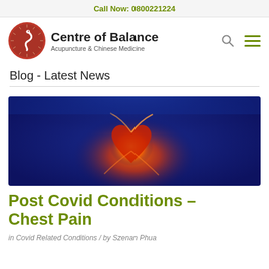Call Now: 0800221224
[Figure (logo): Centre of Balance Acupuncture & Chinese Medicine logo with red circular emblem containing a white serpent/dragon design]
Blog - Latest News
[Figure (photo): Medical illustration of glowing chest/heart anatomy on a blue background, showing orange and red heat-map style highlighting of the heart and chest area]
Post Covid Conditions – Chest Pain
in Covid Related Conditions / by Szenan Phua